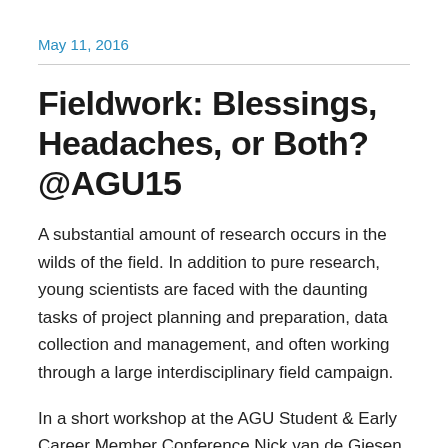May 11, 2016
Fieldwork: Blessings, Headaches, or Both? @AGU15
A substantial amount of research occurs in the wilds of the field. In addition to pure research, young scientists are faced with the daunting tasks of project planning and preparation, data collection and management, and often working through a large interdisciplinary field campaign.
In a short workshop at the AGU Student & Early Career Member Conference Nick van de Giesen (Delft University of Technology) and Helen Dahlke (University of California,